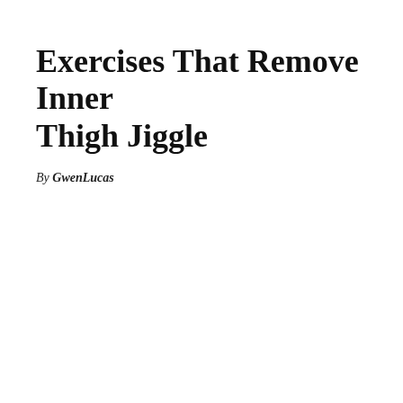Exercises That Remove Inner Thigh Jiggle
By GwenLucas